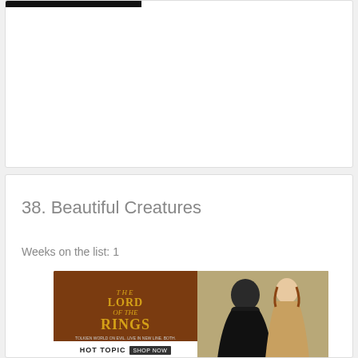[Figure (other): Top white card with a black header bar, mostly blank content area]
38. Beautiful Creatures
Weeks on the list: 1
[Figure (photo): Lord of the Rings Hot Topic advertisement banner showing two figures in fantasy costumes on a brown leather textured background]